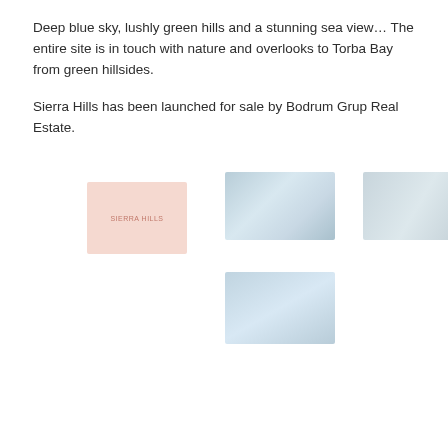Deep blue sky, lushly green hills and a stunning sea view… The entire site is in touch with nature and overlooks to Torba Bay from green hillsides.
Sierra Hills has been launched for sale by Bodrum Grup Real Estate.
[Figure (photo): Four thumbnail images arranged in a grid: top-left is a pinkish-salmon square placeholder with small text 'SIERRA HILLS'; top-center is a blurred landscape/aerial photo in blue-grey tones; top-right is a blurred landscape photo in grey-blue tones; bottom-center is a blurred landscape photo in blue-grey tones.]